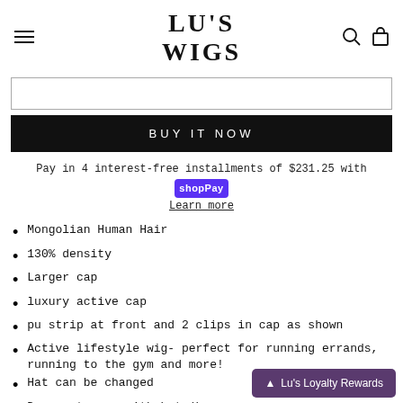LU'S WIGS
BUY IT NOW
Pay in 4 interest-free installments of $231.25 with shopPay
Learn more
Mongolian Human Hair
130% density
Larger cap
luxury active cap
pu strip at front and 2 clips in cap as shown
Active lifestyle wig- perfect for running errands, running to the gym and more!
Hat can be changed
Does not come with hat (hea...